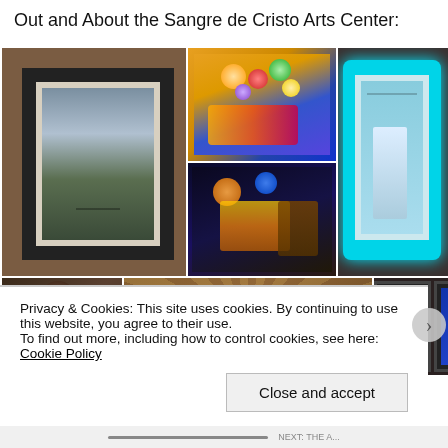Out and About the Sangre de Cristo Arts Center:
[Figure (photo): Gallery collage showing framed artworks on brick walls including a landscape print, colorful abstract painting, cyan-lit framed artwork, dark abstract painting, sculptures, mosaic tile art, and framed prints in bottom row]
Privacy & Cookies: This site uses cookies. By continuing to use this website, you agree to their use.
To find out more, including how to control cookies, see here: Cookie Policy
Close and accept